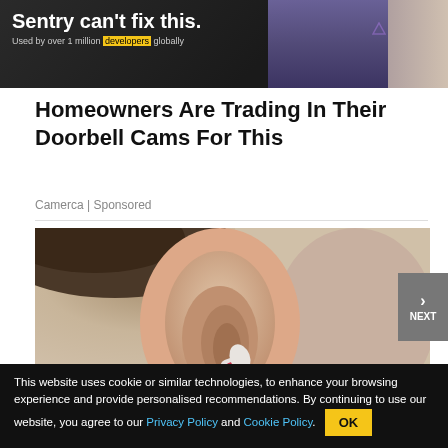[Figure (photo): Sentry advertisement banner — dark background with bold headline 'Sentry can't fix this.' subtext 'Used by over 1 million developers globally', Sentry logo on right, background image of person]
Homeowners Are Trading In Their Doorbell Cams For This
Camerca | Sponsored
[Figure (photo): Close-up photograph of a person's ear with a hearing aid or small earpiece being inserted, pink manicured fingernail visible]
This website uses cookie or similar technologies, to enhance your browsing experience and provide personalised recommendations. By continuing to use our website, you agree to our Privacy Policy and Cookie Policy.